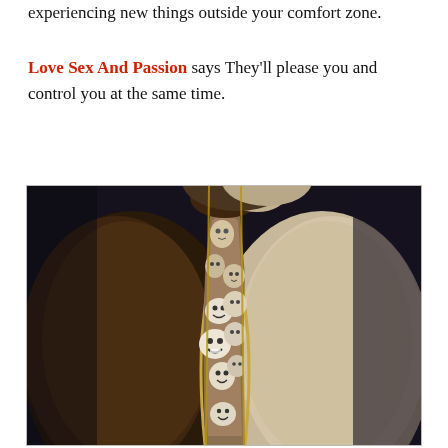experiencing new things outside your comfort zone.
Love Sex And Passion says They'll please you and control you at the same time.
[Figure (photo): A dark artistic sculpture photograph showing a human torso split open revealing many small carved faces/heads inside the body cavity, rendered in dark brown and ivory tones against a dark background.]